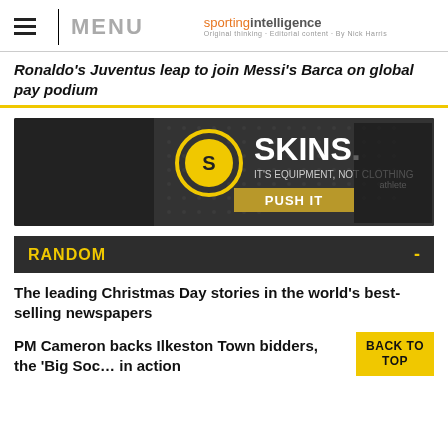MENU | sportingintelligence
Ronaldo's Juventus leap to join Messi's Barca on global pay podium
[Figure (photo): SKINS advertisement banner. Dark background with SKINS logo (yellow circular S icon). Text: 'IT'S EQUIPMENT, NOT CLOTHING' and 'PUSH IT' button. Male athlete in black compression gear on right side.]
RANDOM
The leading Christmas Day stories in the world's best-selling newspapers
PM Cameron backs Ilkeston Town bidders, the 'Big Society' in action